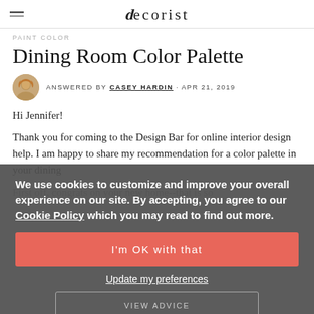decorist
PAINT COLOR
Dining Room Color Palette
ANSWERED BY CASEY HARDIN · APR 21, 2019
Hi Jennifer!
Thank you for coming to the Design Bar for online interior design help. I am happy to share my recommendation for a color palette in your dining
First off, congrats on your new home--that is so
We use cookies to customize and improve your overall experience on our site. By accepting, you agree to our Cookie Policy which you may read to find out more.
I'm OK with that
Update my preferences
VIEW ADVICE